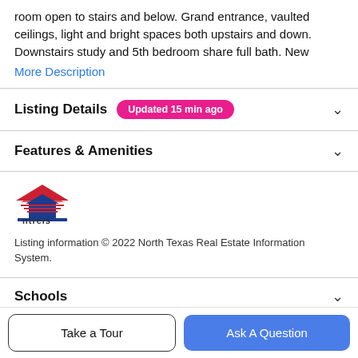room open to stairs and below. Grand entrance, vaulted ceilings, light and bright spaces both upstairs and down. Downstairs study and 5th bedroom share full bath. New
More Description
Listing Details   Updated 15 min ago
Features & Amenities
[Figure (logo): ntreis logo — stylized house shape in red and blue with 'ntreis' text below]
Listing information © 2022 North Texas Real Estate Information System.
Schools
Take a Tour
Ask A Question